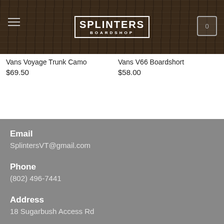[Figure (logo): Splinters Boardshop logo in white on dark wood-textured header bar, with hamburger menu icon on left and cart icon on right]
Vans Voyage Trunk Camo
$69.50
Vans V66 Boardshort
$58.00
Email
SplintersVT@gmail.com
Phone
(802) 496-7441
Address
18 Sugarbush Access Rd